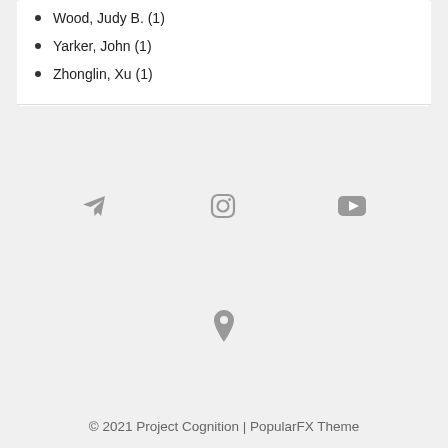Wood, Judy B. (1)
Yarker, John (1)
Zhonglin, Xu (1)
[Figure (illustration): Three social media icons: Telegram (paper plane), Instagram (camera), and YouTube (play button), displayed in gray]
[Figure (illustration): Pinterest pin icon in gray]
© 2021 Project Cognition | PopularFX Theme